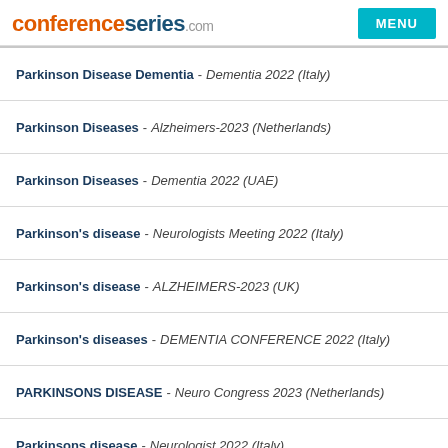conferenceseries.com | MENU
Parkinson Disease Dementia - Dementia 2022 (Italy)
Parkinson Diseases - Alzheimers-2023 (Netherlands)
Parkinson Diseases - Dementia 2022 (UAE)
Parkinson's disease - Neurologists Meeting 2022 (Italy)
Parkinson's disease - ALZHEIMERS-2023 (UK)
Parkinson's diseases - DEMENTIA CONFERENCE 2022 (Italy)
PARKINSONS DISEASE - Neuro Congress 2023 (Netherlands)
Parkinsons disease - Neurologist 2022 (Italy)
ALZHEIMERS-2023 (UK)